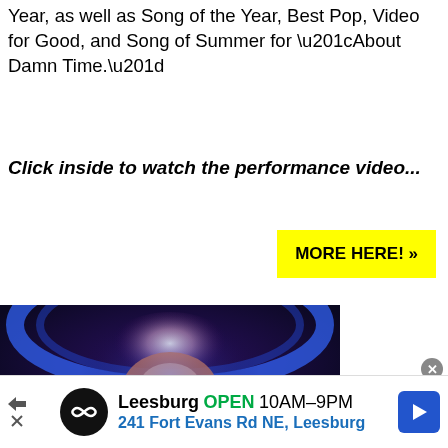Year, as well as Song of the Year, Best Pop, Video for Good, and Song of Summer for “About Damn Time.”
Click inside to watch the performance video...
MORE HERE! »
[Figure (photo): Medical illustration of enlarged prostate anatomy with glowing blue and purple highlights on dark background. Text overlay reads: Surgeon: 80% of Men with Enlarged Prostate. Yellow circular icon with figure visible at bottom left.]
Leesburg OPEN 10AM–9PM 241 Fort Evans Rd NE, Leesburg